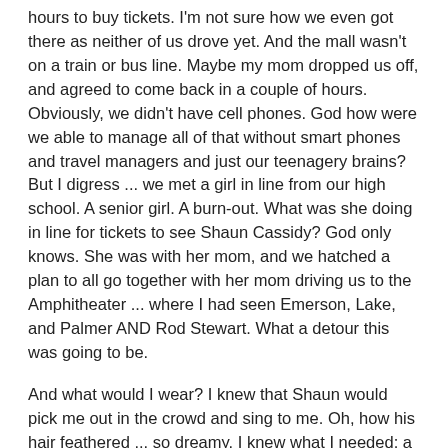hours to buy tickets. I'm not sure how we even got there as neither of us drove yet. And the mall wasn't on a train or bus line. Maybe my mom dropped us off, and agreed to come back in a couple of hours. Obviously, we didn't have cell phones. God how were we able to manage all of that without smart phones and travel managers and just our teenagery brains? But I digress ... we met a girl in line from our high school. A senior girl. A burn-out. What was she doing in line for tickets to see Shaun Cassidy? God only knows. She was with her mom, and we hatched a plan to all go together with her mom driving us to the Amphitheater ... where I had seen Emerson, Lake, and Palmer AND Rod Stewart. What a detour this was going to be.
And what would I wear? I knew that Shaun would pick me out in the crowd and sing to me. Oh, how his hair feathered ... so dreamy. I knew what I needed: a satin baseball jacket. How do I get my hands on one of those, I wondered. We weren't really the type of family that went to the mall on a regular basis to buy clothes. I thought that I had seen one at The Limited, but I didn't have any money; well, not that kind of money. And my mom certainly wasn't going to finance my